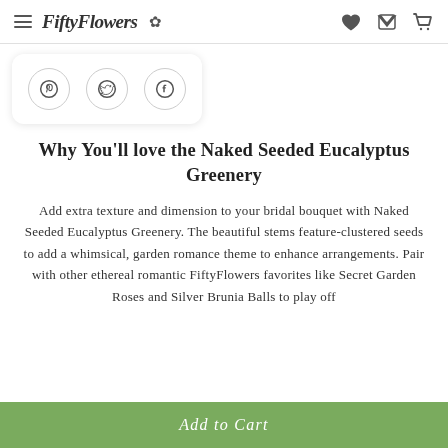FiftyFlowers
[Figure (other): Social share buttons card with Pinterest, Twitter, and Facebook icons]
Why You'll love the Naked Seeded Eucalyptus Greenery
Add extra texture and dimension to your bridal bouquet with Naked Seeded Eucalyptus Greenery. The beautiful stems feature-clustered seeds to add a whimsical, garden romance theme to enhance arrangements. Pair with other ethereal romantic FiftyFlowers favorites like Secret Garden Roses and Silver Brunia Balls to play off
Add to Cart